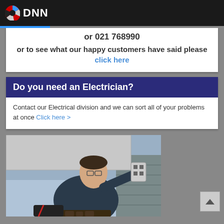DNN
or 021 768990
or to see what our happy customers have said please click here
Do you need an Electrician?
Contact our Electrical division and we can sort all of your problems at once Click here >
[Figure (photo): An electrician wearing glasses and dark shirt working on an electrical fixture mounted on a wall outside a building, reaching up with a tool.]